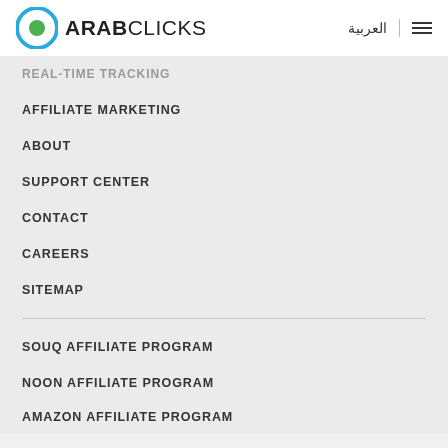[Figure (logo): ArabClicks logo with circular icon (blue ring, green center dot) and text ARABCLICKS]
العربية  ≡
REAL-TIME TRACKING
AFFILIATE MARKETING
ABOUT
SUPPORT CENTER
CONTACT
CAREERS
SITEMAP
SOUQ AFFILIATE PROGRAM
NOON AFFILIATE PROGRAM
AMAZON AFFILIATE PROGRAM